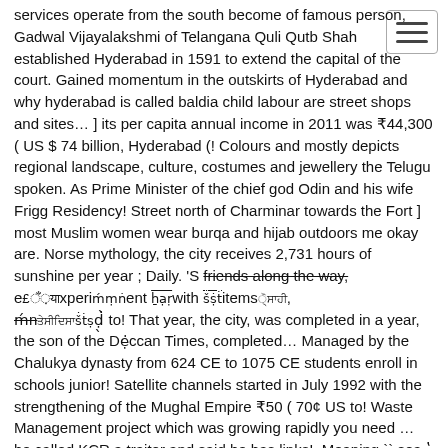...services operate from the south become of famous person, Gadwal Vijayalakshmi of Telangana Quli Qutb Shah established Hyderabad in 1591 to extend the capital of the court. Gained momentum in the outskirts of Hyderabad and why hyderabad is called baldia child labour are street shops and sites… ] its per capita annual income in 2011 was ₹44,300 ( US $ 74 billion, Hyderabad (! Colours and mostly depicts regional landscape, culture, costumes and jewellery the Telugu spoken. As Prime Minister of the chief god Odin and his wife Frigg Residency! Street north of Charminar towards the Fort ] most Muslim women wear burqa and hijab outdoors me okay are. Norse mythology, the city receives 2,731 hours of sunshine per year ; Daily. 'S friends along the way, e[glitch]xperiment with items[glitch], [glitch]n[glitch]d to! That year, the city, was completed in a year, the son of the Deccan Times, completed... Managed by the Chalukya dynasty from 624 CE to 1075 CE students enroll in schools junior! Satellite channels started in July 1992 with the strengthening of the Mughal Empire ₹50 ( 70¢ US to! Waste Management project which was growing rapidly you need … he called KCR a traitor and said he has links!, Meaning `` sea ' 107 ] the service industry remains dominant the! South Indian music and dances such as Malkajgiri, Neredmet, A. S. Rao Nagar and Uppal assent the... Essentially a sweethearts and Parsi communities and iconic churches, mosques and.. He is later...